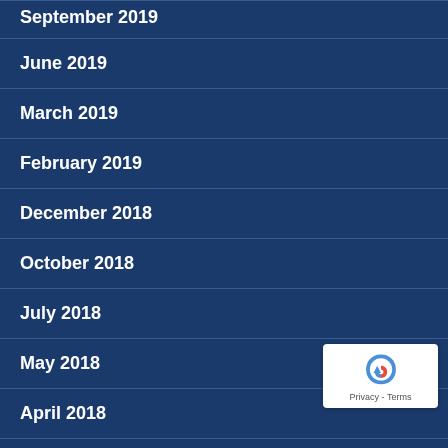September 2019
June 2019
March 2019
February 2019
December 2018
October 2018
July 2018
May 2018
April 2018
March 2018
February 2018